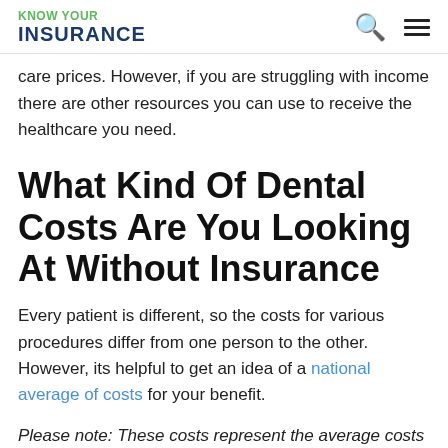KNOW YOUR INSURANCE
care prices. However, if you are struggling with income there are other resources you can use to receive the healthcare you need.
What Kind Of Dental Costs Are You Looking At Without Insurance
Every patient is different, so the costs for various procedures differ from one person to the other. However, its helpful to get an idea of a national average of costs for your benefit.
Please note: These costs represent the average costs for dental care nationwide. It doesnt necessarily reflect the